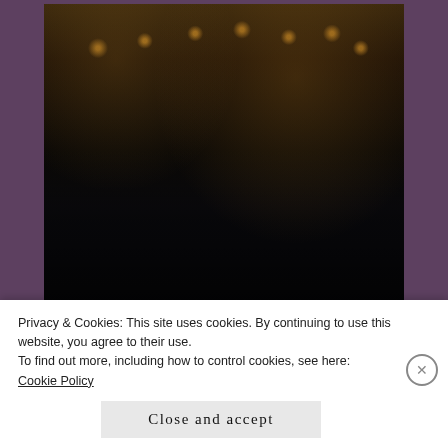[Figure (photo): A nighttime scene from Empire on Fox TV show showing two people on lounge chairs on a rooftop or patio with string lights in the background and plants visible. FOX logo/badge visible in bottom right corner.]
credit: Empire on Fox
Privacy & Cookies: This site uses cookies. By continuing to use this website, you agree to their use.
To find out more, including how to control cookies, see here:
Cookie Policy
Close and accept